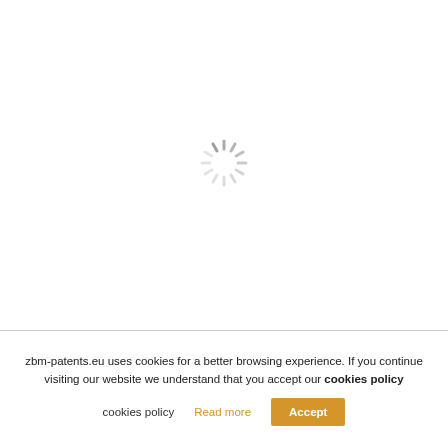[Figure (other): Loading spinner icon — a circular arrangement of short radial lines in gray, indicating a page loading state]
zbm-patents.eu uses cookies for a better browsing experience. If you continue visiting our website we understand that you accept our cookies policy  Read more  Accept